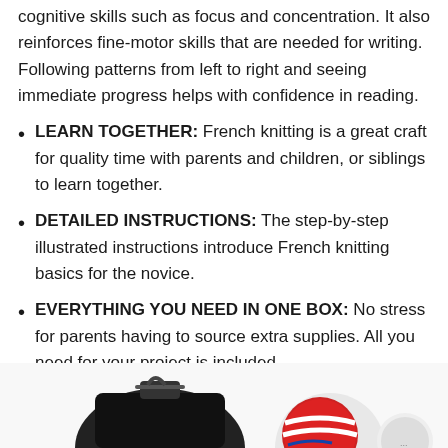cognitive skills such as focus and concentration. It also reinforces fine-motor skills that are needed for writing. Following patterns from left to right and seeing immediate progress helps with confidence in reading.
LEARN TOGETHER: French knitting is a great craft for quality time with parents and children, or siblings to learn together.
DETAILED INSTRUCTIONS: The step-by-step illustrated instructions introduce French knitting basics for the novice.
EVERYTHING YOU NEED IN ONE BOX: No stress for parents having to source extra supplies. All you need for your project is included.
[Figure (photo): Bottom portion of product image showing knitting tools and accessories including what appears to be a black carry bag and a red/white yarn ball or knitting doll]